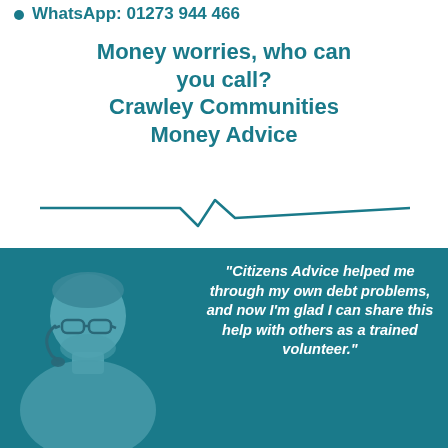WhatsApp: 01273 944 466
Money worries, who can you call?
Crawley Communities Money Advice
[Figure (illustration): Decorative teal divider line with a speech bubble zigzag shape in the middle]
[Figure (photo): Teal-tinted photo of a man wearing glasses and a headset/microphone, overlaid on a teal background panel]
“Citizens Advice helped me through my own debt problems, and now I’m glad I can share this help with others as a trained volunteer.”